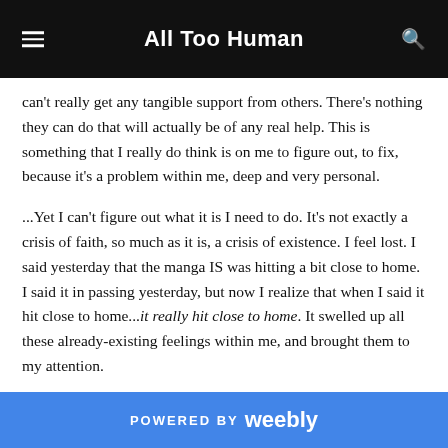All Too Human
can't really get any tangible support from others. There's nothing they can do that will actually be of any real help. This is something that I really do think is on me to figure out, to fix, because it's a problem within me, deep and very personal.
...Yet I can't figure out what it is I need to do. It's not exactly a crisis of faith, so much as it is, a crisis of existence. I feel lost. I said yesterday that the manga IS was hitting a bit close to home. I said it in passing yesterday, but now I realize that when I said it hit close to home...it really hit close to home. It swelled up all these already-existing feelings within me, and brought them to my attention.
I keep telling myself it'll pass.
POWERED BY weebly